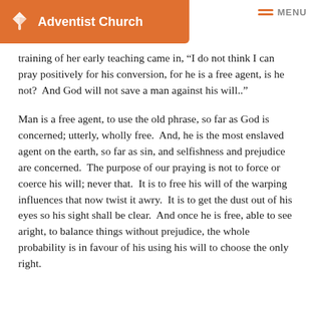Adventist Church
training of her early teaching came in, “I do not think I can pray positively for his conversion, for he is a free agent, is he not?  And God will not save a man against his will..”
Man is a free agent, to use the old phrase, so far as God is concerned; utterly, wholly free.  And, he is the most enslaved agent on the earth, so far as sin, and selfishness and prejudice are concerned.  The purpose of our praying is not to force or coerce his will; never that.  It is to free his will of the warping influences that now twist it awry.  It is to get the dust out of his eyes so his sight shall be clear.  And once he is free, able to see aright, to balance things without prejudice, the whole probability is in favour of his using his will to choose the only right.